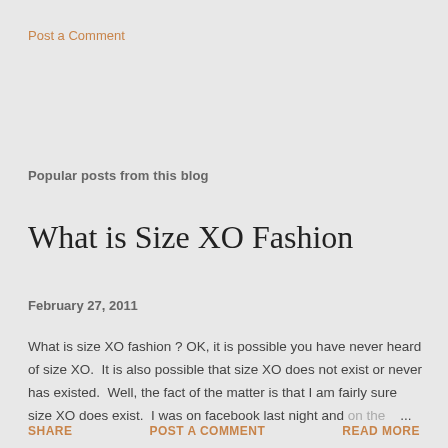Post a Comment
Popular posts from this blog
What is Size XO Fashion
February 27, 2011
What is size XO fashion ? OK, it is possible you have never heard of size XO.  It is also possible that size XO does not exist or never has existed.  Well, the fact of the matter is that I am fairly sure size XO does exist.  I was on facebook last night and on the …
SHARE   POST A COMMENT   READ MORE